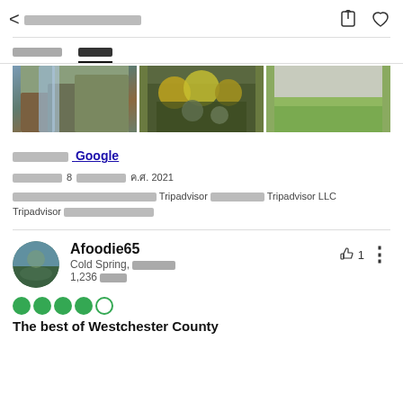< [Thai text] [share icon] [heart icon]
[tab 1 Thai] [tab 2 Thai - active]
[Figure (photo): Three nature photos in a horizontal row: waterfall/rocks, autumn foliage, green field]
[Thai] Google
[Thai] 8 [Thai] ค.ศ. 2021
[Thai] Tripadvisor [Thai] Tripadvisor LLC Tripadvisor [Thai]
Afoodie65
Cold Spring, [Thai]
1,236 [Thai]
[Figure (other): 4.5 star rating shown as green filled circles (4 filled, 1 empty)]
The best of Westchester County